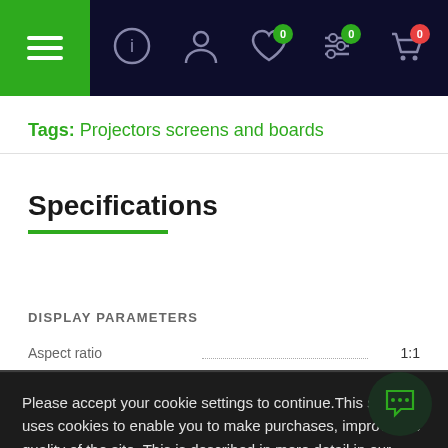Navigation bar with hamburger menu, info, account, wishlist (0), filters (0), cart (0)
Tags: Projectors screens and boards
Specifications
DISPLAY PARAMETERS
| Parameter | Value |
| --- | --- |
| Aspect ratio | 1:1 |
| Viewable screen height (H) | 203 cm |
| Viewable screen width (W) | 203 cm |
| (next row partially visible) | ...0 (H) |
PRODUCT COLOR
| Parameter | Value |
| --- | --- |
| Case colour | Black |
Please accept your cookie settings to continue.This site uses cookies to enable you to make purchases, improve the quality of the site. This is described in more detail in our cookie policy.You can change your choice at any time by changing your cookie settings. More
Accept